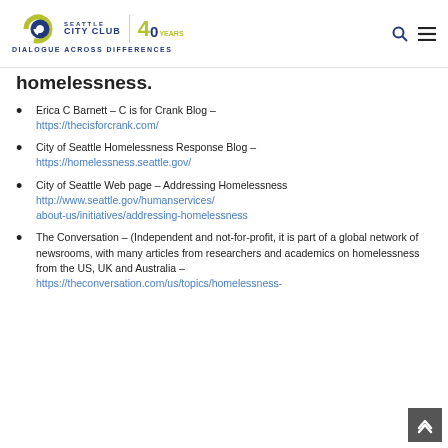Seattle City Club – Dialogue Across Differences
homelessness.
Erica C Barnett – C is for Crank Blog – https://thecisforcrank.com/
City of Seattle Homelessness Response Blog – https://homelessness.seattle.gov/
City of Seattle Web page – Addressing Homelessness http://www.seattle.gov/humanservices/about-us/initiatives/addressing-homelessness
The Conversation – (Independent and not-for-profit, it is part of a global network of newsrooms, with many articles from researchers and academics on homelessness from the US, UK and Australia – https://theconversation.com/us/topics/homelessness-